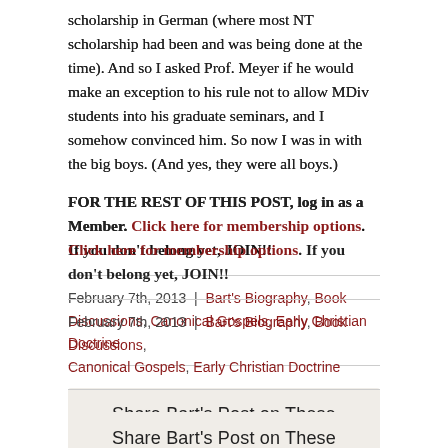scholarship in German (where most NT scholarship had been and was being done at the time). And so I asked Prof. Meyer if he would make an exception to his rule not to allow MDiv students into his graduate seminars, and I somehow convinced him. So now I was in with the big boys. (And yes, they were all boys.)
FOR THE REST OF THIS POST, log in as a Member. Click here for membership options. If you don't belong yet, JOIN!!
February 7th, 2013 | Bart's Biography, Book Discussions, Canonical Gospels, Early Christian Doctrine
Share Bart's Post on These Platforms